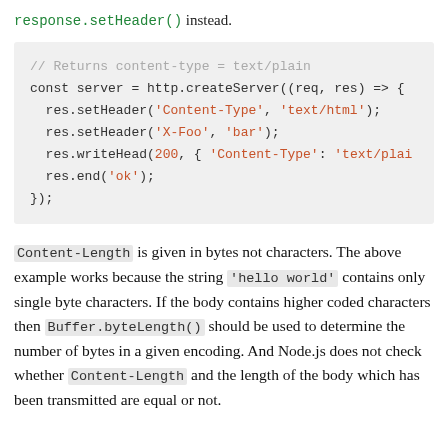response.setHeader() instead.
[Figure (screenshot): Code block showing Node.js HTTP server example with res.setHeader and res.writeHead calls]
Content-Length is given in bytes not characters. The above example works because the string 'hello world' contains only single byte characters. If the body contains higher coded characters then Buffer.byteLength() should be used to determine the number of bytes in a given encoding. And Node.js does not check whether Content-Length and the length of the body which has been transmitted are equal or not.